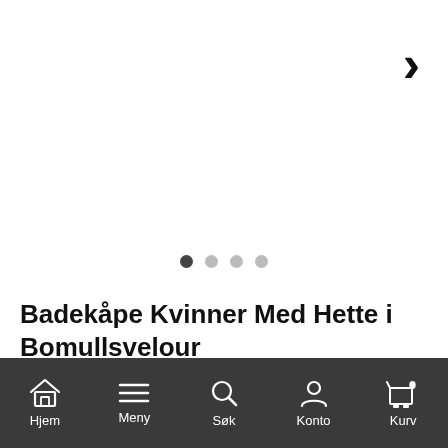[Figure (other): Product image carousel area — blank white area with a right-arrow navigation chevron at top right and four indicator dots at the bottom, showing a product image viewer]
Badekåpe Kvinner Med Hette i Bomullsvelour
Art.nr: 8880gs
Hjem   Meny   Søk   Konto   Kurv